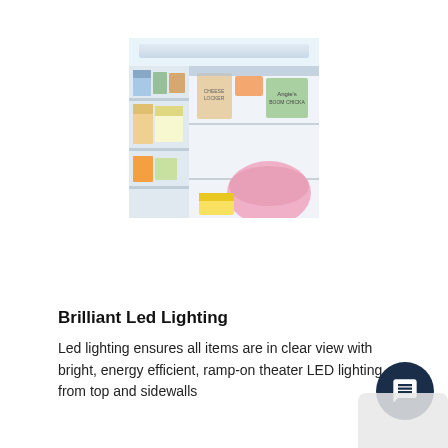[Figure (photo): Interior of a refrigerator door and shelves, showing various food items, packages, and containers including what appears to be a pink bowl/container and various boxed food products on the door shelves.]
Brilliant Led Lighting
Led lighting ensures all items are in clear view with bright, energy efficient, ramp-on theater LED lighting from top and sidewalls